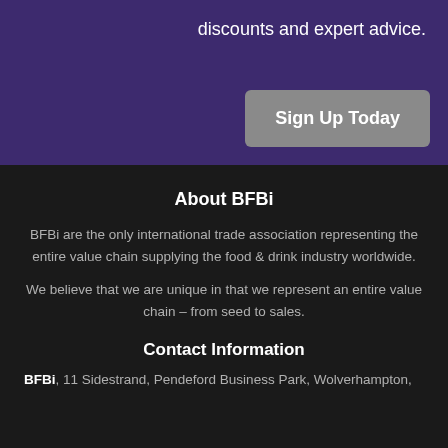discounts and expert advice.
Sign Up Today
About BFBi
BFBi are the only international trade association representing the entire value chain supplying the food & drink industry worldwide.
We believe that we are unique in that we represent an entire value chain – from seed to sales.
Contact Information
BFBi, 11 Sidestrand, Pendeford Business Park, Wolverhampton,